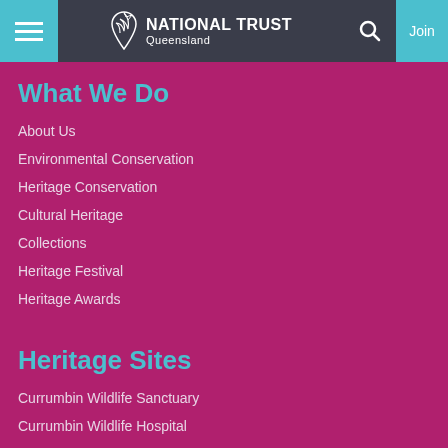National Trust Queensland — navigation header with hamburger menu, logo, search, and Join button
What We Do
About Us
Environmental Conservation
Heritage Conservation
Cultural Heritage
Collections
Heritage Festival
Heritage Awards
Heritage Sites
Currumbin Wildlife Sanctuary
Currumbin Wildlife Hospital
Wolston Farmhouse